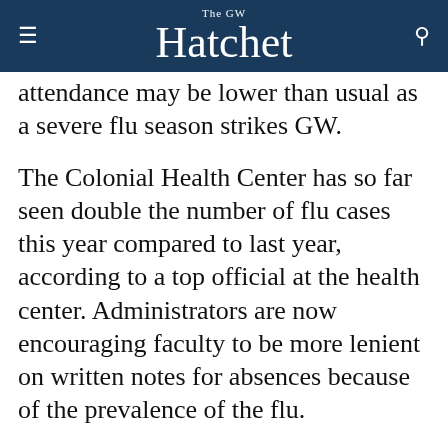The GW Hatchet
attendance may be lower than usual as a severe flu season strikes GW.
The Colonial Health Center has so far seen double the number of flu cases this year compared to last year, according to a top official at the health center. Administrators are now encouraging faculty to be more lenient on written notes for absences because of the prevalence of the flu.
Experts say college students are particularly vulnerable to the flu because many don't get flu vaccines and are in frequent contact with large groups of people.